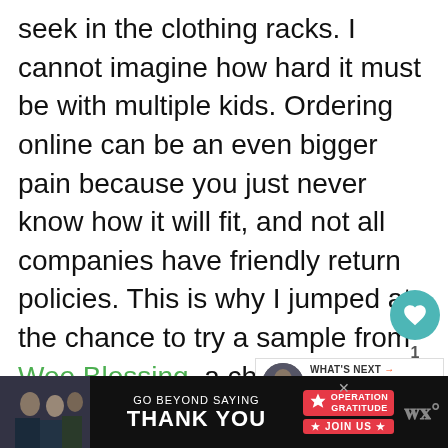seek in the clothing racks. I cannot imagine how hard it must be with multiple kids. Ordering online can be an even bigger pain because you just never know how it will fit, and not all companies have friendly return policies. This is why I jumped at the chance to try a sample from Wee Blessing, a child clothing subscription. I barely have time during the day to feed myself so anything that helps me take care of my son's needs is a huge de...
[Figure (screenshot): Social media sidebar widget showing a heart/like button in teal, like count of 1, and a share button]
[Figure (screenshot): What's Next promo box showing a thumbnail photo with text 'WHAT'S NEXT → How Did Your Skin Change...']
[Figure (screenshot): Advertisement banner at bottom: GO BEYOND SAYING THANK YOU - Operation Gratitude JOIN US, with people in uniform photo on left]